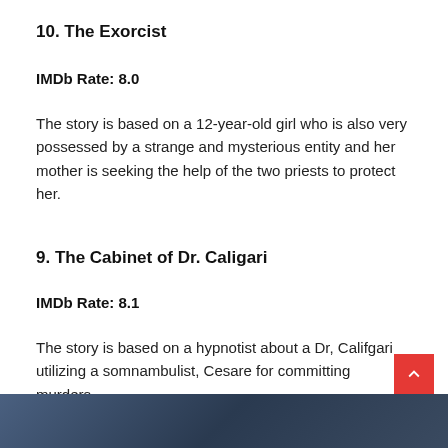10. The Exorcist
IMDb Rate: 8.0
The story is based on a 12-year-old girl who is also very possessed by a strange and mysterious entity and her mother is seeking the help of the two priests to protect her.
9. The Cabinet of Dr. Caligari
IMDb Rate: 8.1
The story is based on a hypnotist about a Dr, Califgari utilizing a somnambulist, Cesare for committing murders.
[Figure (photo): Partial photo strip at the bottom of the page showing a scene from a horror movie]